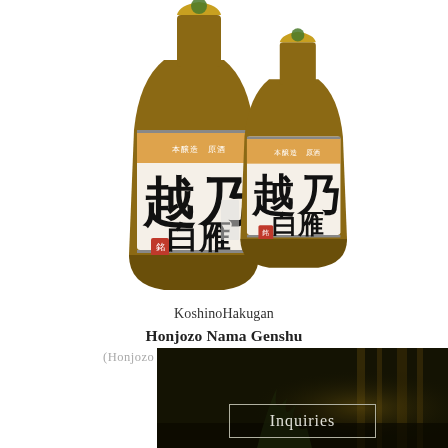[Figure (photo): Two sake bottles with Japanese labels reading 越乃白雁 (KoshinoHakugan), white labels with black calligraphy, red stamp seals, amber glass bottles]
KoshinoHakugan
Honjozo Nama Genshu
(Honjozo unpasteurized and undiluted sake)
[Figure (photo): Dark background image of a traditional Japanese brewery interior with wooden elements, used as background for Inquiries button]
Inquiries